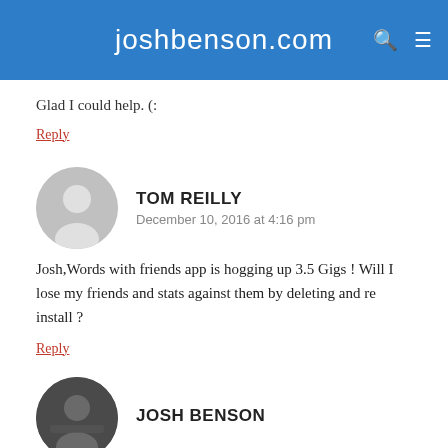joshbenson.com
Glad I could help. (:
Reply
TOM REILLY
December 10, 2016 at 4:16 pm
Josh,Words with friends app is hogging up 3.5 Gigs ! Will I lose my friends and stats against them by deleting and re install ?
Reply
JOSH BENSON